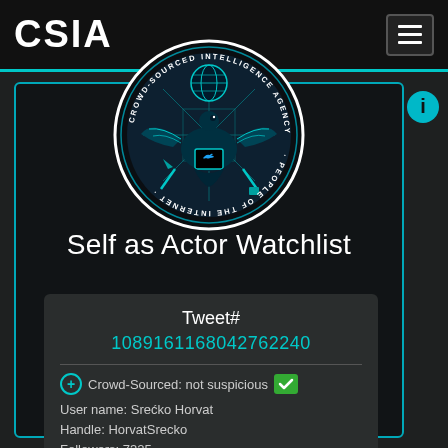CSIA
[Figure (logo): CSIA Crowd-Sourced Intelligence Agency seal — circular emblem with eagle, globe, Twitter bird logo on laptop, pickaxe and shovel, surrounded by text 'CROWD-SOURCED INTELLIGENCE AGENCY · PEOPLE OF THE INTERNET']
Self as Actor Watchlist
| Tweet# |
| --- |
| 1089161168042762240 |
| Crowd-Sourced: not suspicious ✓ |
| User name: Srećko Horvat |
| Handle: HorvatSrecko |
| Followers: 7325 |